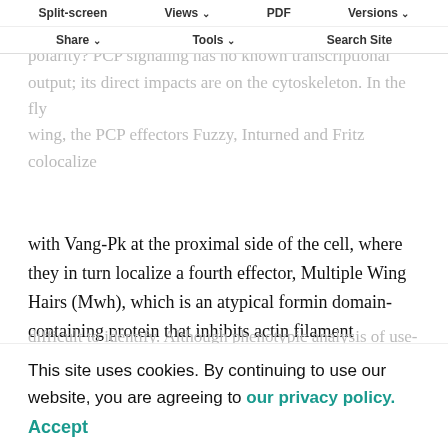Split-screen | Views | PDF | Versions | Share | Tools | Search Site
with Vang-Pk at the proximal side of the cell, where they in turn localize a fourth effector, Multiple Wing Hairs (Mwh), which is an atypical formin domain-containing protein that inhibits actin filament elongation, thereby preventing trichome formation at the proximal side of the cell (Collier and Gubb, 1997; Collier et al., 2005; Lu et al., 2015; Park et al., 1996). By contrast, PCP effectors that function at the distal side of the cell, downstream of Fz-Dvl to promote actin assembly and trichome formation, have been more
This site uses cookies. By continuing to use our website, you are agreeing to our privacy policy. Accept